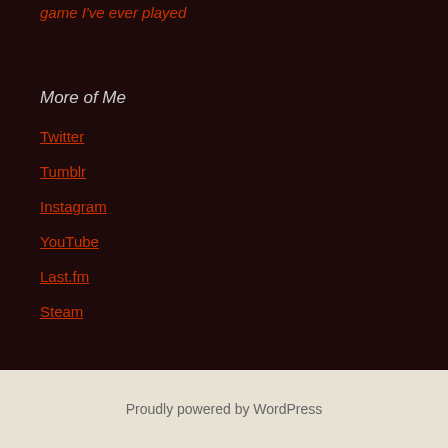game I've ever played
More of Me
Twitter
Tumblr
Instagram
YouTube
Last.fm
Steam
Proudly powered by WordPress